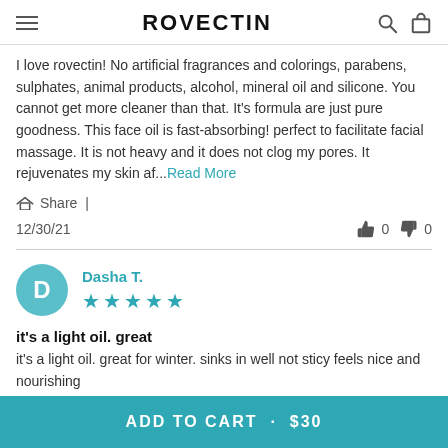ROVECTIN
I love rovectin! No artificial fragrances and colorings, parabens, sulphates, animal products, alcohol, mineral oil and silicone. You cannot get more cleaner than that. It's formula are just pure goodness. This face oil is fast-absorbing! perfect to facilitate facial massage. It is not heavy and it does not clog my pores. It rejuvenates my skin af...Read More
Share |
12/30/21    👍 0  👎 0
Dasha T. ★★★★★
it's a light oil. great
it's a light oil. great for winter. sinks in well not sticy feels nice and nourishing
ADD TO CART . $30